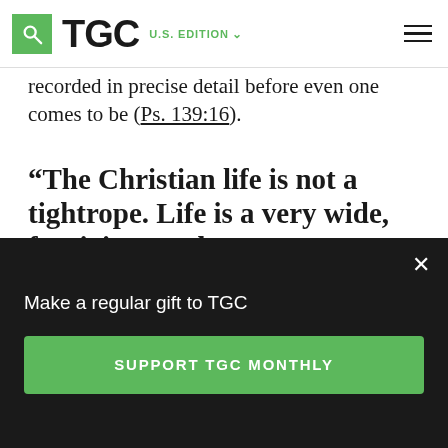TGC U.S. EDITION
recorded in precise detail before even one comes to be (Ps. 139:16).
“The Christian life is not a tightrope. Life is a very wide, forgiving road.”
In short, we want to be omniscient—which, of
Make a regular gift to TGC
SUPPORT TGC MONTHLY